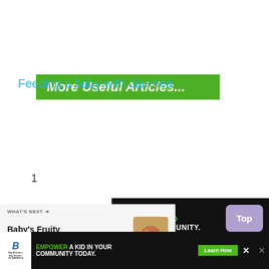More Useful Articles...
Feeding a baby with diarrhea
[Figure (screenshot): Advertisement banner for Big Brothers Big Sisters: 'MENTOR A KID IN YOUR COMMUNITY.' with Learn How button on dark background]
[Figure (infographic): Heart/like button (teal circle with heart icon), like count '1', and share button]
1
[Figure (infographic): WHAT'S NEXT arrow section with text 'Baby's Fruity Fiesta...' and food thumbnail image]
WHAT'S NEXT →
Baby's Fruity Fiesta...
[Figure (screenshot): Top button - purple/lavender rectangle with text 'Top']
[Figure (screenshot): Bottom advertisement banner: Big Brothers Big Sisters - EMPOWER A KID IN YOUR COMMUNITY TODAY. with Learn How button]